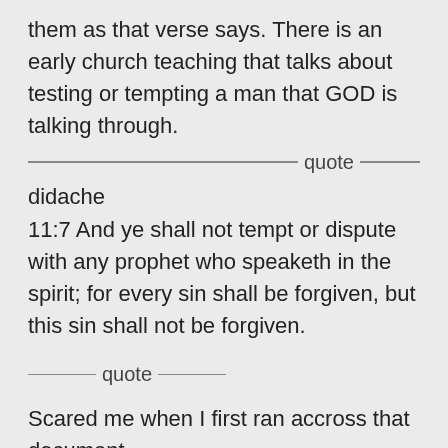them as that verse says. There is an early church teaching that talks about testing or tempting a man that GOD is talking through.
——————quote———
didache
11:7 And ye shall not tempt or dispute with any prophet who speaketh in the spirit; for every sin shall be forgiven, but this sin shall not be forgiven.
————quote————
Scared me when I first ran accross that document.